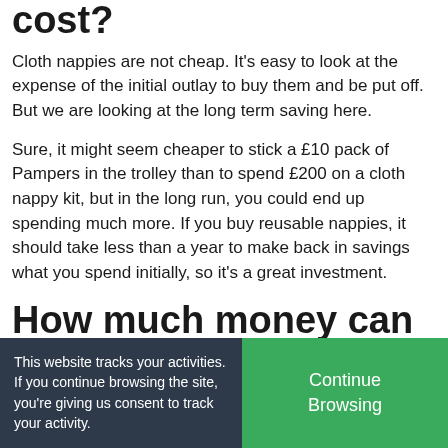cost?
Cloth nappies are not cheap. It's easy to look at the expense of the initial outlay to buy them and be put off. But we are looking at the long term saving here.
Sure, it might seem cheaper to stick a £10 pack of Pampers in the trolley than to spend £200 on a cloth nappy kit, but in the long run, you could end up spending much more. If you buy reusable nappies, it should take less than a year to make back in savings what you spend initially, so it's a great investment.
How much money can you save using cloth nappies?
This website tracks your activities. If you continue browsing the site, you're giving us consent to track your activity.